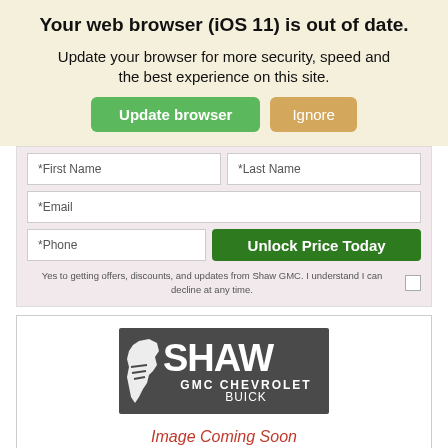Your web browser (iOS 11) is out of date.
Update your browser for more security, speed and the best experience on this site.
Update browser | Ignore
[Figure (screenshot): Web form with fields for First Name, Last Name, Email, Phone, and an 'Unlock Price Today' button, plus a consent checkbox.]
[Figure (logo): Shaw GMC Chevrolet Buick dealer logo on dark gray background with California state shape silhouette]
Image Coming Soon